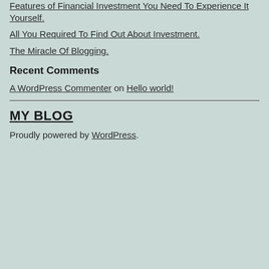Features of Financial Investment You Need To Experience It Yourself.
All You Required To Find Out About Investment.
The Miracle Of Blogging.
Recent Comments
A WordPress Commenter on Hello world!
MY BLOG
Proudly powered by WordPress.